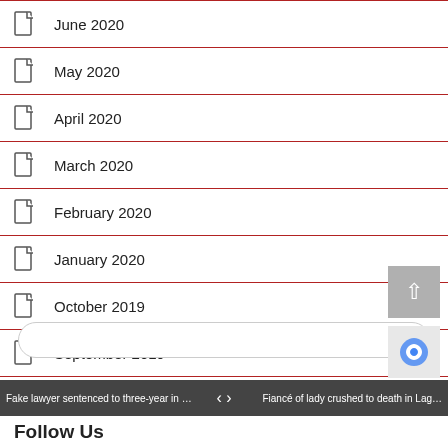June 2020
May 2020
April 2020
March 2020
February 2020
January 2020
October 2019
September 2019
Fake lawyer sentenced to three-year in … | < > | Fiancé of lady crushed to death in Lag…
Follow Us